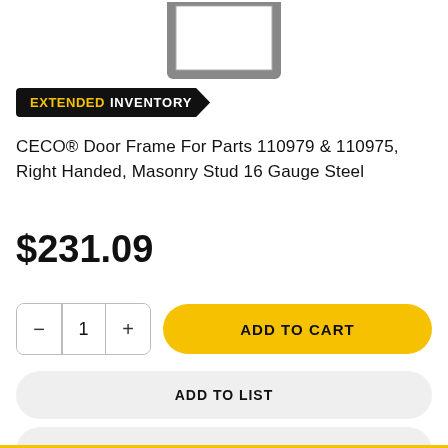[Figure (illustration): Partial view of a door frame product image at the top of the page]
EXTENDED INVENTORY
CECO® Door Frame For Parts 110979 & 110975, Right Handed, Masonry Stud 16 Gauge Steel
$231.09
ADD TO CART
ADD TO LIST
ADD TO QUOTE